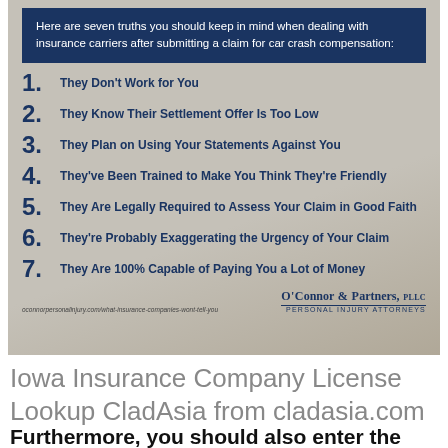[Figure (infographic): Infographic from O'Connor & Partners, PLLC listing seven truths about insurance carriers after submitting a car crash claim, with numbered list items on a background image of hands writing.]
Iowa Insurance Company License Lookup CladAsia from cladasia.com
Furthermore, you should also enter the registration